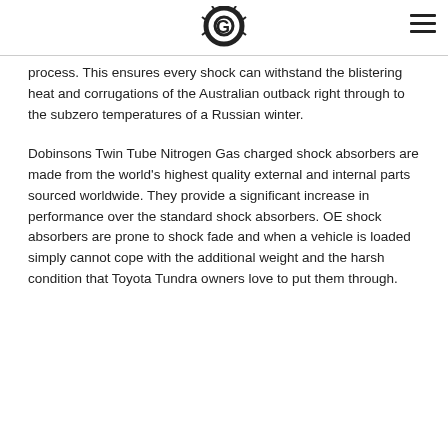G (logo)
process. This ensures every shock can withstand the blistering heat and corrugations of the Australian outback right through to the subzero temperatures of a Russian winter.
Dobinsons Twin Tube Nitrogen Gas charged shock absorbers are made from the world’s highest quality external and internal parts sourced worldwide. They provide a significant increase in performance over the standard shock absorbers. OE shock absorbers are prone to shock fade and when a vehicle is loaded simply cannot cope with the additional weight and the harsh condition that Toyota Tundra owners love to put them through.